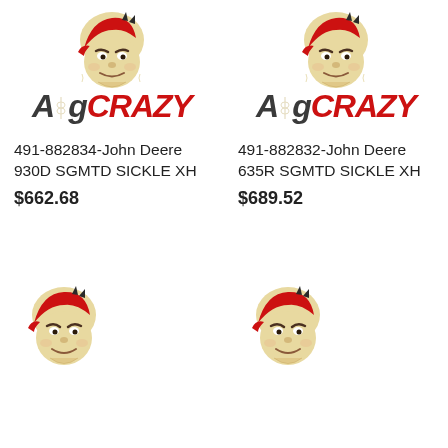[Figure (logo): AgCRAZY logo - cartoon mascot with red cap and AgCRAZY wordmark, top-left product]
491-882834-John Deere 930D SGMTD SICKLE XH
$662.68
[Figure (logo): AgCRAZY logo - cartoon mascot with red cap and AgCRAZY wordmark, top-right product]
491-882832-John Deere 635R SGMTD SICKLE XH
$689.52
[Figure (logo): AgCRAZY mascot - cartoon character with red cap, bottom-left, partially cropped]
[Figure (logo): AgCRAZY mascot - cartoon character with red cap, bottom-right, partially cropped]